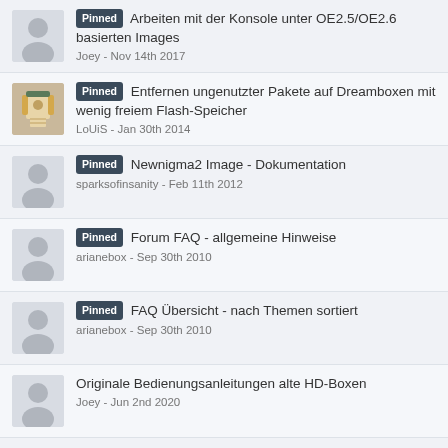Pinned Arbeiten mit der Konsole unter OE2.5/OE2.6 basierten Images
Joey - Nov 14th 2017
Pinned Entfernen ungenutzter Pakete auf Dreamboxen mit wenig freiem Flash-Speicher
LoUiS - Jan 30th 2014
Pinned Newnigma2 Image - Dokumentation
sparksofinsanity - Feb 11th 2012
Pinned Forum FAQ - allgemeine Hinweise
arianebox - Sep 30th 2010
Pinned FAQ Übersicht - nach Themen sortiert
arianebox - Sep 30th 2010
Originale Bedienungsanleitungen alte HD-Boxen
Joey - Jun 2nd 2020
How To DreamOS: NFS Freigaben einbinden